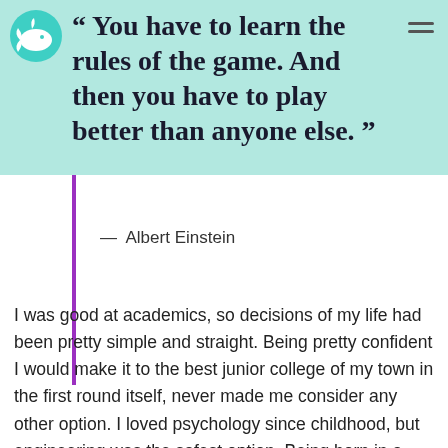[Figure (logo): Teal/mint colored whale logo icon]
“ You have to learn the rules of the game. And then you have to play better than anyone else. ”
—  Albert Einstein
I was good at academics, so decisions of my life had been pretty simple and straight. Being pretty confident I would make it to the best junior college of my town in the first round itself, never made me consider any other option. I loved psychology since childhood, but engineering was the safest option. Being born in a middle class family, thinking of risking your career to make it to medical field was not sane. I grew up hearing ‘Only doctor’s children can afford that